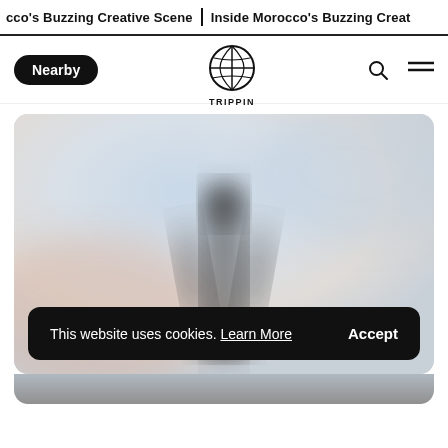cco's Buzzing Creative Scene   Inside Morocco's Buzzing Creat
[Figure (logo): TRIPPIN globe logo with navigation: Nearby button on left, search and hamburger menu on right]
[Figure (photo): Blurred outdoor photo showing a silhouette figure against a light sky, with a cookie consent banner overlay reading 'This website uses cookies. Learn More  Accept']
This website uses cookies. Learn More  Accept